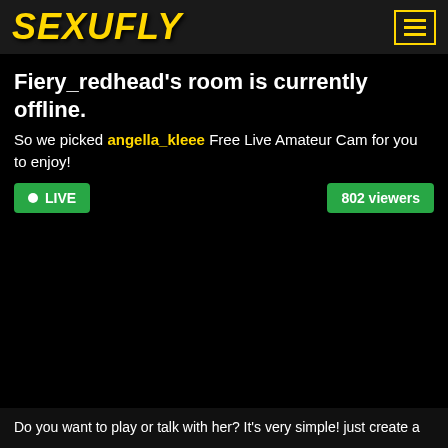SEXUFLY
Fiery_redhead's room is currently offline.
So we picked angella_kleee Free Live Amateur Cam for you to enjoy!
LIVE   802 viewers
[Figure (screenshot): Black video player area showing a live cam stream with LIVE badge and 802 viewers count, with mute icon and volume slider at bottom]
Do you want to play or talk with her? It's very simple! just create a